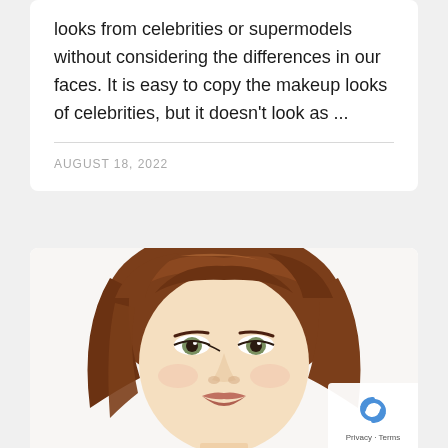looks from celebrities or supermodels without considering the differences in our faces. It is easy to copy the makeup looks of celebrities, but it doesn't look as ...
AUGUST 18, 2022
[Figure (photo): Close-up portrait of a woman with auburn/reddish-brown hair, wearing eye makeup, looking upward. White background.]